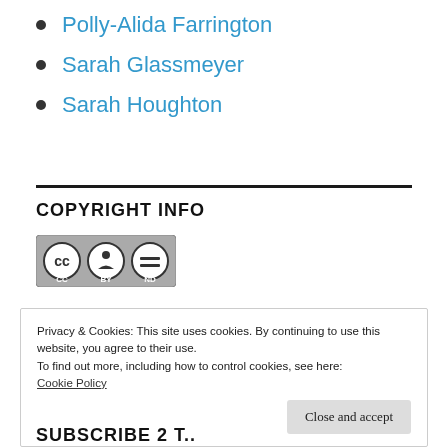Polly-Alida Farrington
Sarah Glassmeyer
Sarah Houghton
COPYRIGHT INFO
[Figure (logo): Creative Commons BY-ND license badge with CC, person, and equals icons]
Privacy & Cookies: This site uses cookies. By continuing to use this website, you agree to their use.
To find out more, including how to control cookies, see here:
Cookie Policy
Close and accept
SUBSCRIBE 2 T..